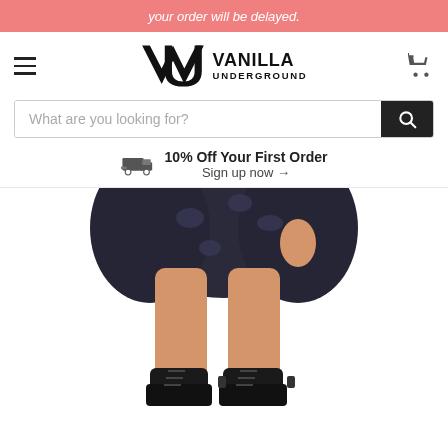your order will be delayed.
[Figure (logo): Vanilla Underground logo with hamburger menu and cart icon]
What are you looking for?
10% Off Your First Order
Sign up now →
[Figure (photo): Child wearing a dark floral skirt and black lace-up combat boots, cropped at mid-torso showing legs and feet on white background]